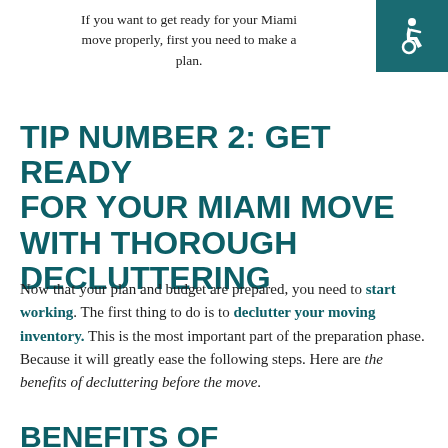If you want to get ready for your Miami move properly, first you need to make a plan.
TIP NUMBER 2: GET READY FOR YOUR MIAMI MOVE WITH THOROUGH DECLUTTERING
Now that your plan and budget are prepared, you need to start working. The first thing to do is to declutter your moving inventory. This is the most important part of the preparation phase. Because it will greatly ease the following steps. Here are the benefits of decluttering before the move.
Benefits of decluttering